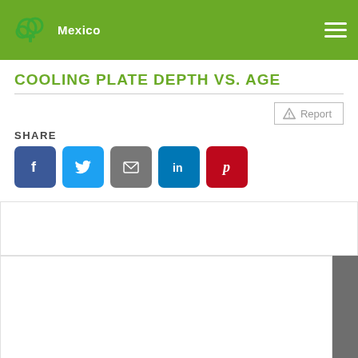Mexico
COOLING PLATE DEPTH VS. AGE
Report
SHARE
[Figure (screenshot): Social share buttons: Facebook, Twitter, Email, LinkedIn, Pinterest]
[Figure (other): Embedded chart area showing cooling plate depth vs. age — partially loaded with white top section and gray content area below]